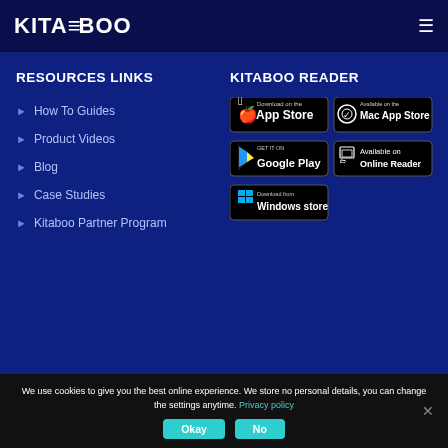KITA BOO
RESOURCES LINKS
How To Guides
Product Videos
Blog
Case Studies
Kitaboo Partner Program
KITABOO READER
[Figure (screenshot): App store download buttons: App Store, Mac App Store, Google Play, Online Reader, Windows Store]
We use cookies to give you the best online experience. We store no personal details, you can change the settings anytime. Privacy policy
Okay  No